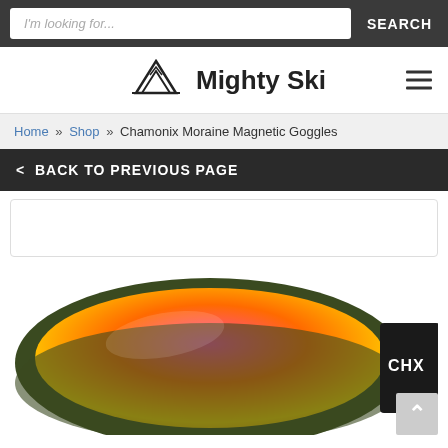I'm looking for...  SEARCH
[Figure (logo): Mighty Ski logo with mountain peak icon and text 'Mighty Ski']
Home » Shop » Chamonix Moraine Magnetic Goggles
< BACK TO PREVIOUS PAGE
[Figure (photo): Chamonix Moraine Magnetic Goggles product photo showing ski goggles with orange-pink mirrored lens and black strap with CHX branding]